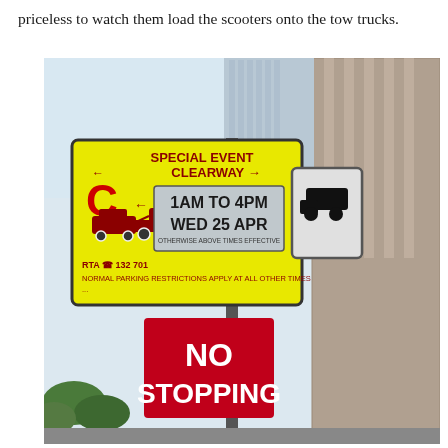priceless to watch them load the scooters onto the tow trucks.
[Figure (photo): A yellow Special Event Clearway road sign on a pole in an urban street, with an additional grey and white sign showing a tow truck icon. An overlay sign reads '1AM TO 4PM WED 25 APR'. Below the yellow sign is a red 'NO STOPPING' sign. Buildings and sky visible in background.]